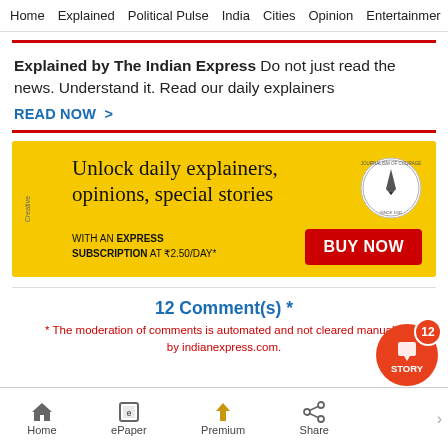Home  Explained  Political Pulse  India  Cities  Opinion  Entertainment
Explained by The Indian Express Do not just read the news. Understand it. Read our daily explainers
READ NOW >
[Figure (infographic): Yellow advertisement banner: Unlock daily explainers, opinions, special stories. WITH AN EXPRESS SUBSCRIPTION AT ₹2.50/DAY* BUY NOW button. Circular logo on right.]
12 Comment(s) *
* The moderation of comments is automated and not cleared manually by indianexpress.com.
Home  ePaper  Premium  Share  STORY